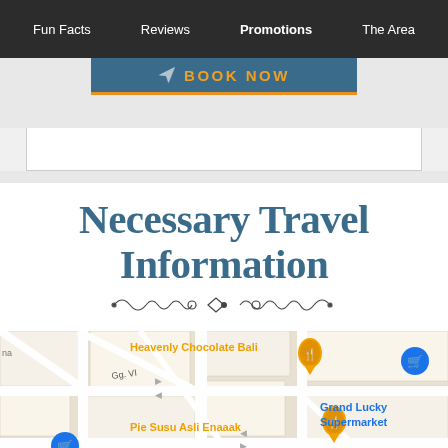Fun Facts | Reviews | Promotions | The Area
[Figure (screenshot): BOOK NOW button on dark navigation background with blue-teal panel and orange underline]
Necessary Travel Information
[Figure (map): Google Maps screenshot showing area around Jl. Patih Jelantik in Bali with markers for Heavenly Chocolate Bali, Pie Susu Asli Enaaak, Papaya Fresh Gallery, Grand Lucky Supermarket, and Transmart Carrefour]